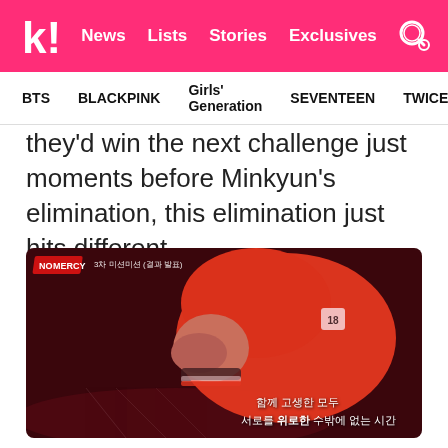k! News Lists Stories Exclusives
BTS  BLACKPINK  Girls' Generation  SEVENTEEN  TWICE
they'd win the next challenge just moments before Minkyun's elimination, this elimination just hits different.
[Figure (screenshot): Screenshot from a TV show (No Mercy) showing a person bowing their head down in a red/orange hoodie, crying or emotional. Korean subtitles at bottom right read: 함께 고생한 모두 서로를 위로한 수밖에 없는 시간. A 'No Mercy' logo badge is visible at top left with episode text.]